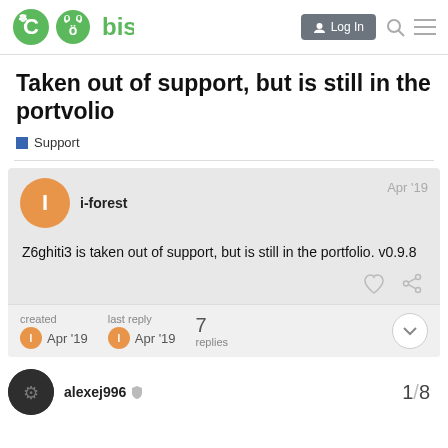bisq — Log In
Taken out of support, but is still in the portvolio
Support
i-forest  Apr '19
Z6ghiti3 is taken out of support, but is still in the portfolio. v0.9.8
created Apr '19  last reply Apr '19  7 replies
alexej996  1/8